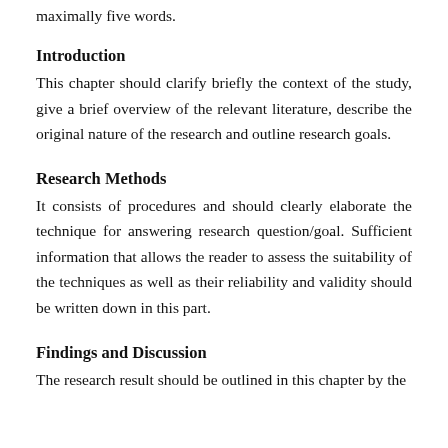maximally five words.
Introduction
This chapter should clarify briefly the context of the study, give a brief overview of the relevant literature, describe the original nature of the research and outline research goals.
Research Methods
It consists of procedures and should clearly elaborate the technique for answering research question/goal. Sufficient information that allows the reader to assess the suitability of the techniques as well as their reliability and validity should be written down in this part.
Findings and Discussion
The research result should be outlined in this chapter by the